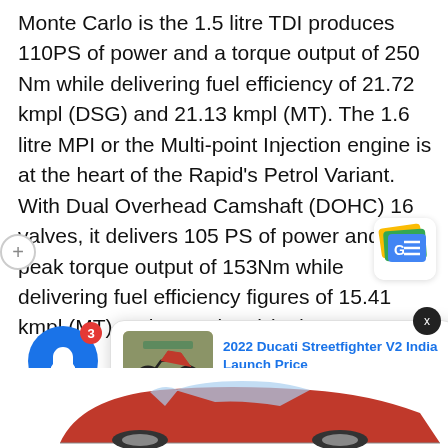Monte Carlo is the 1.5 litre TDI produces 110PS of power and a torque output of 250 Nm while delivering fuel efficiency of 21.72 kmpl (DSG) and 21.13 kmpl (MT). The 1.6 litre MPI or the Multi-point Injection engine is at the heart of the Rapid's Petrol Variant. With Dual Overhead Camshaft (DOHC) 16 valves, it delivers 105 PS of power and a peak torque output of 153Nm while delivering fuel efficiency figures of 15.41 kmpl (MT) and 14.84 kmpl (AT).
[Figure (screenshot): Google News app icon with colorful newspaper/card design and GE logo]
[Figure (screenshot): News notification card: 2022 Ducati Streetfighter V2 India Launch Price, 26 minutes ago, with motorcycle thumbnail]
[Figure (photo): Red car partially visible at the bottom of the page]